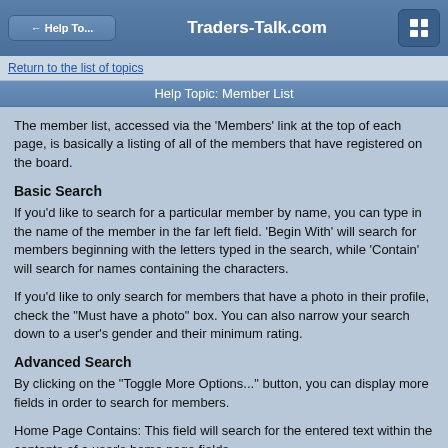← Help To...   Traders-Talk.com
Return to the list of topics
Help Topic: Member List
The member list, accessed via the 'Members' link at the top of each page, is basically a listing of all of the members that have registered on the board.
Basic Search
If you'd like to search for a particular member by name, you can type in the name of the member in the far left field. 'Begin With' will search for members beginning with the letters typed in the search, while 'Contain' will search for names containing the characters.
If you'd like to only search for members that have a photo in their profile, check the "Must have a photo" box. You can also narrow your search down to a user's gender and their minimum rating.
Advanced Search
By clicking on the "Toggle More Options..." button, you can display more fields in order to search for members.
Home Page Contains: This field will search for the entered text within the contents of a user's home page fields.
Signature Contains: Similar to Home Page Contains, this will search the signatures of users instead.